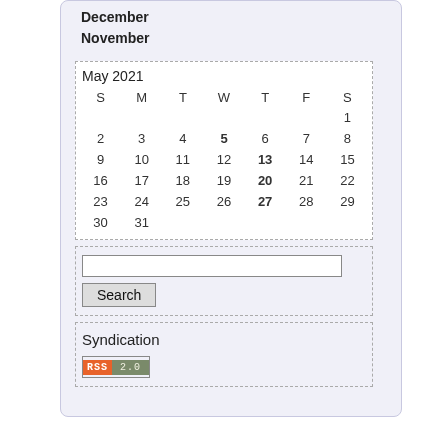December
November
| S | M | T | W | T | F | S |
| --- | --- | --- | --- | --- | --- | --- |
|  |  |  |  |  |  | 1 |
| 2 | 3 | 4 | 5 | 6 | 7 | 8 |
| 9 | 10 | 11 | 12 | 13 | 14 | 15 |
| 16 | 17 | 18 | 19 | 20 | 21 | 22 |
| 23 | 24 | 25 | 26 | 27 | 28 | 29 |
| 30 | 31 |  |  |  |  |  |
Search
Syndication
[Figure (logo): RSS 2.0 badge with orange RSS label and gray 2.0 label]